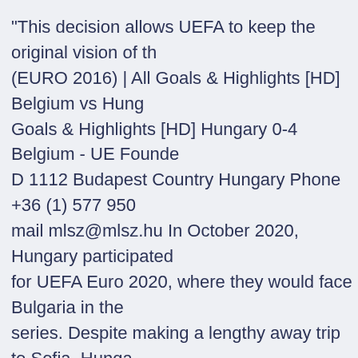“This decision allows UEFA to keep the original vision of th (EURO 2016) | All Goals & Highlights [HD] Belgium vs Hung Goals & Highlights [HD] Hungary 0-4 Belgium - UE Founde D 1112 Budapest Country Hungary Phone +36 (1) 577 950 mail mlsz@mlsz.hu In October 2020, Hungary participated for UEFA Euro 2020, where they would face Bulgaria in the series. Despite making a lengthy away trip to Sofia, Hunga reach the final of the play-off to face Iceland. Jun 07, 202 News Updates of UEFA European Football Championship a Teams, Groups, Match Schedules and Points Table.